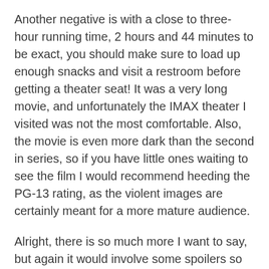Another negative is with a close to three-hour running time, 2 hours and 44 minutes to be exact, you should make sure to load up enough snacks and visit a restroom before getting a theater seat!  It was a very long movie, and unfortunately the IMAX theater I visited was not the most comfortable.  Also, the movie is even more dark than the second in series, so if you have little ones waiting to see the film I would recommend heeding the PG-13 rating, as the violent images are certainly meant for a more mature audience.
Alright, there is so much more I want to say, but again it would involve some spoilers so I'll just say go see this film!  And stop back and leave a thought or two below after you see it to let me know your favorite character/moment.  Look